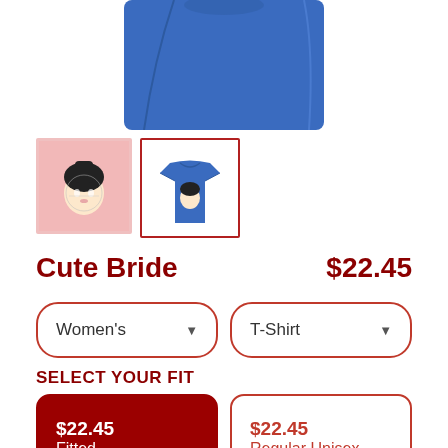[Figure (photo): Blue t-shirt product photo cropped at top]
[Figure (photo): Thumbnail: illustration of cute bride character on pink background]
[Figure (photo): Thumbnail: blue t-shirt with cute bride design, selected with dark red border]
Cute Bride
$22.45
Women's
T-Shirt
SELECT YOUR FIT
$22.45
Fitted
$22.45
Regular Unisex